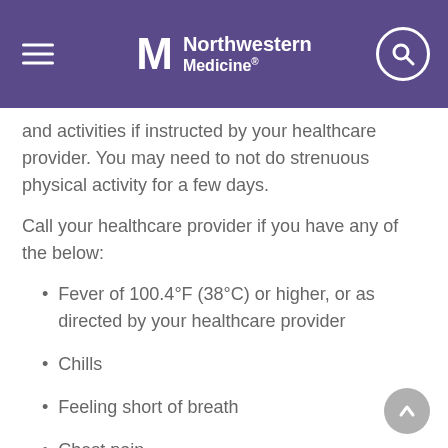Northwestern Medicine
and activities if instructed by your healthcare provider. You may need to not do strenuous physical activity for a few days.
Call your healthcare provider if you have any of the below:
Fever of 100.4°F (38°C) or higher, or as directed by your healthcare provider
Chills
Feeling short of breath
Chest pain
Trouble breathing